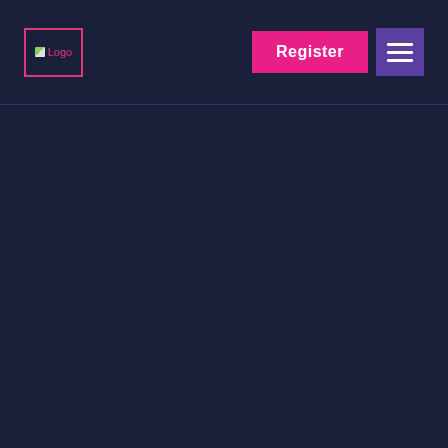Logo | Register | Menu
[Figure (screenshot): Dark navy background main content area, empty]